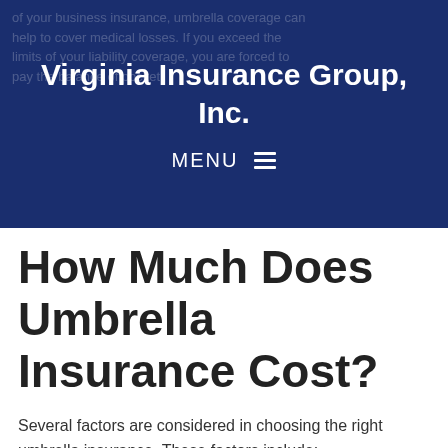Virginia Insurance Group, Inc.
How Much Does Umbrella Insurance Cost?
Several factors are considered in choosing the right umbrella insurance. These factors include: